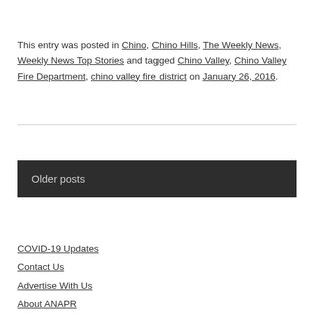This entry was posted in Chino, Chino Hills, The Weekly News, Weekly News Top Stories and tagged Chino Valley, Chino Valley Fire Department, chino valley fire district on January 26, 2016.
Older posts
COVID-19 Updates
Contact Us
Advertise With Us
About ANAPR